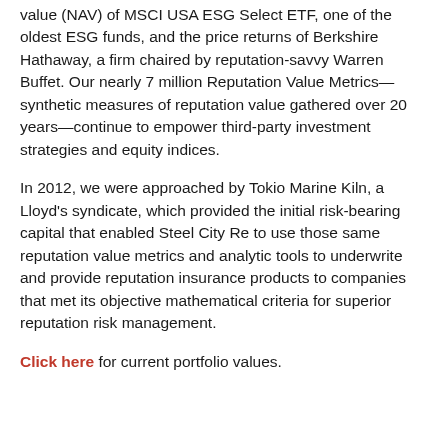value (NAV) of MSCI USA ESG Select ETF, one of the oldest ESG funds, and the price returns of Berkshire Hathaway, a firm chaired by reputation-savvy Warren Buffet. Our nearly 7 million Reputation Value Metrics—synthetic measures of reputation value gathered over 20 years—continue to empower third-party investment strategies and equity indices.
In 2012, we were approached by Tokio Marine Kiln, a Lloyd's syndicate, which provided the initial risk-bearing capital that enabled Steel City Re to use those same reputation value metrics and analytic tools to underwrite and provide reputation insurance products to companies that met its objective mathematical criteria for superior reputation risk management.
Click here for current portfolio values.